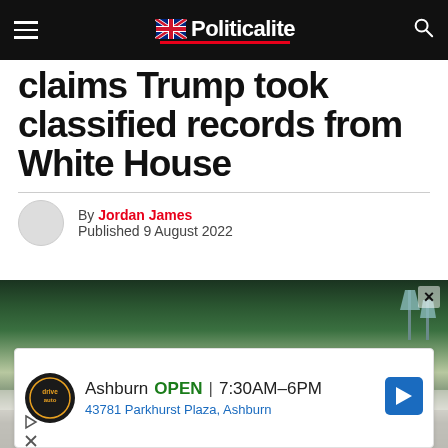Politicalite
claims Trump took classified records from White House
By Jordan James
Published 9 August 2022
[Figure (photo): Exterior photo of a building entrance with palm trees, green foliage, and decorative lamp posts, overlaid with an advertisement for Drivauto Ashburn showing OPEN 7:30AM-6PM, 43781 Parkhurst Plaza, Ashburn]